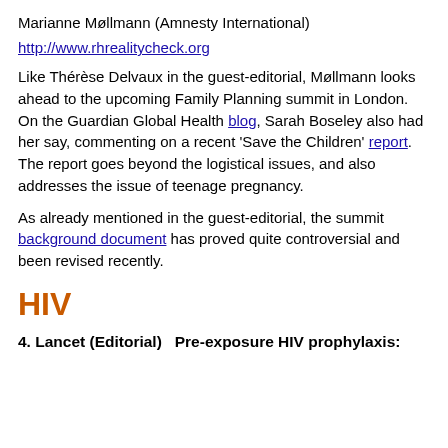Marianne Møllmann (Amnesty International)
http://www.rhrealitycheck.org
Like Thérèse Delvaux in the guest-editorial, Møllmann looks ahead to the upcoming Family Planning summit in London. On the Guardian Global Health blog, Sarah Boseley also had her say, commenting on a recent 'Save the Children' report. The report goes beyond the logistical issues, and also addresses the issue of teenage pregnancy.
As already mentioned in the guest-editorial, the summit background document has proved quite controversial and been revised recently.
HIV
4. Lancet (Editorial)   Pre-exposure HIV prophylaxis: